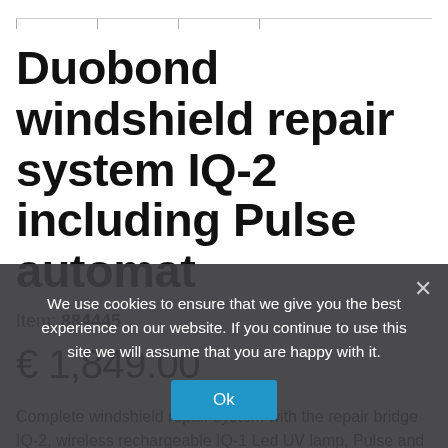Duobond windshield repair system IQ-2 including Pulse automat
Item: 884445
€ 1,849.00
Complete windshield repair system with the repair bridge IQ-2, wireless rechargeable IQ-1 Led UV lamp, Pulse and DART supply, ... Duobond ... solution for perfect stone chip repair on laminated glass.
We use cookies to ensure that we give you the best experience on our website. If you continue to use this site we will assume that you are happy with it.